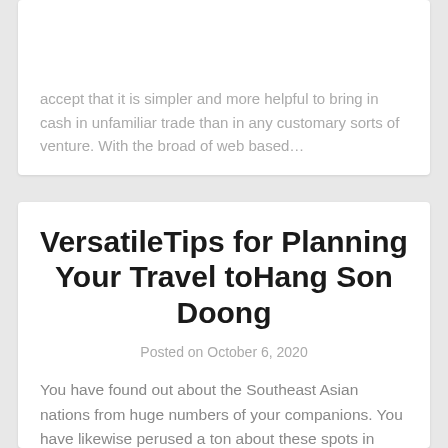accept that it is simpler and more helpful to bring in cash in unfamiliar trade than in any customary sorts of venture. With the broad of web based…
VersatileTips for Planning Your Travel toHang Son Doong
Posted on October 6, 2020
You have found out about the Southeast Asian nations from huge numbers of your companions. You have likewise perused a ton about these spots in various magazines. As you have gathered a ton